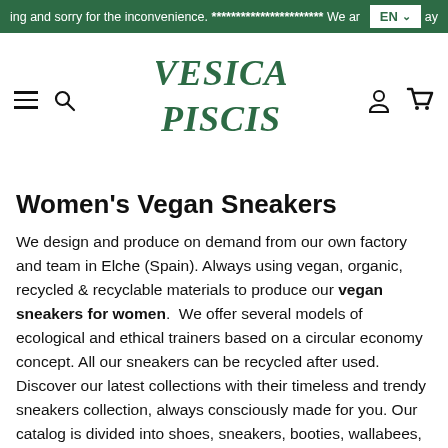ing and sorry for the inconvenience. *********************** We ar  EN  ay
[Figure (logo): Vesica Piscis brand logo in dark green stylized lettering]
Women's Vegan Sneakers
We design and produce on demand from our own factory and team in Elche (Spain). Always using vegan, organic, recycled & recyclable materials to produce our vegan sneakers for women.  We offer several models of ecological and ethical trainers based on a circular economy concept. All our sneakers can be recycled after used. Discover our latest collections with their timeless and trendy sneakers collection, always consciously made for you. Our catalog is divided into shoes, sneakers, booties, wallabees, home slippers and sandals, as well as belts, sack packs and caps. Walk with us to a more respectful and conscious consumption